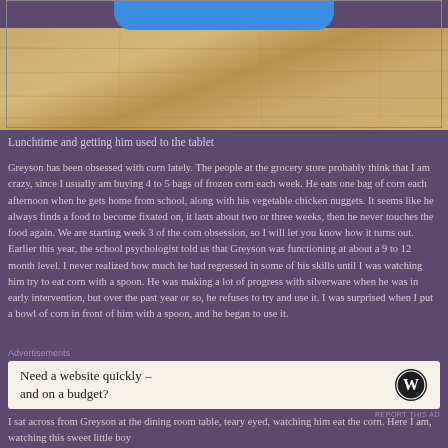[Figure (photo): Photo showing a blue tablet at the top edge and a wooden floor/table surface below it, viewed from above]
Lunchtime and getting him used to the tablet
Greyson has been obsessed with corn lately. The people at the grocery store probably think that I am crazy, since I usually am buying 4 to 5 bags of frozen corn each week. He eats one bag of corn each afternoon when he gets home from school, along with his vegetable chicken nuggets. It seems like he always finds a food to become fixated on, it lasts about two or three weeks, then he never touches the food again. We are starting week 3 of the corn obsession, so I will let you know how it turns out. Earlier this year, the school psychologist told us that Greyson was functioning at about a 9 to 12 month level. I never realized how much he had regressed in some of his skills until I was watching him try to eat corn with a spoon. He was making a lot of progress with silverware when he was in early intervention, but over the past year or so, he refuses to try and use it. I was surprised when I put a bowl of corn in front of him with a spoon, and he began to use it.
Advertisements
[Figure (screenshot): WordPress advertisement: Need a website quickly – and on a budget? with WordPress logo]
REPORT THIS AD
I sat across from Greyson at the dining room table, teary eyed, watching him eat the corn. Here I am, watching this sweet little boy